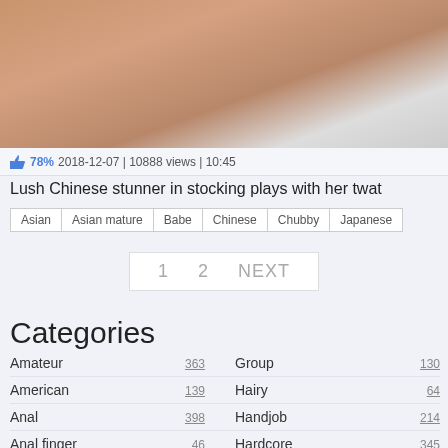[Figure (photo): Thumbnail image of person in fuzzy/textured fabric clothing]
78% 2018-12-07 | 10888 views | 10:45
Lush Chinese stunner in stocking plays with her twat
| Asian | Asian mature | Babe | Chinese | Chubby | Japanese |
1   2   NEXT
Categories
| Amateur | 363 | Group | 130 |
| American | 139 | Hairy | 64 |
| Anal | 398 | Handjob | 214 |
| Anal finger | 46 | Hardcore | 345 |